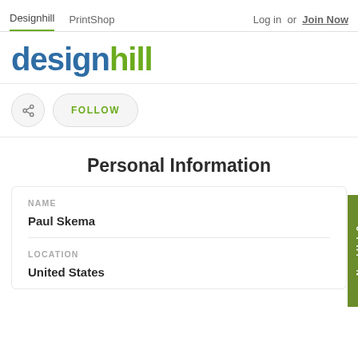Designhill  PrintShop  Log in or Join Now
[Figure (logo): Designhill logo with 'design' in blue and 'hill' in green]
FOLLOW
Personal Information
| NAME | Paul Skema |
| LOCATION | United States |